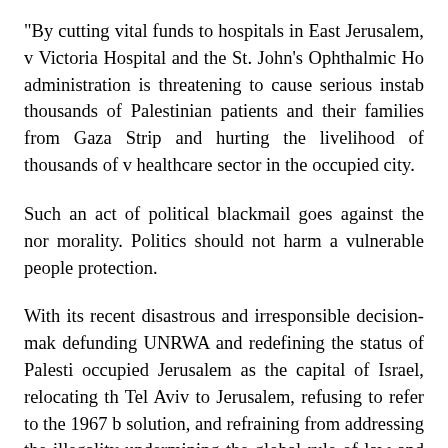"By cutting vital funds to hospitals in East Jerusalem, v Victoria Hospital and the St. John's Ophthalmic Ho administration is threatening to cause serious instab thousands of Palestinian patients and their families from Gaza Strip and hurting the livelihood of thousands of v healthcare sector in the occupied city.
Such an act of political blackmail goes against the nor morality. Politics should not harm a vulnerable people protection.
With its recent disastrous and irresponsible decision-mak defunding UNRWA and redefining the status of Palesti occupied Jerusalem as the capital of Israel, relocating th Tel Aviv to Jerusalem, refusing to refer to the 1967 b solution, and refraining from addressing the illegality undermining the global rule of law and its standing, interests around the world.
Such spiteful and dangerous American moves will furth with its systematic plans targeting occupied Jerusalem...